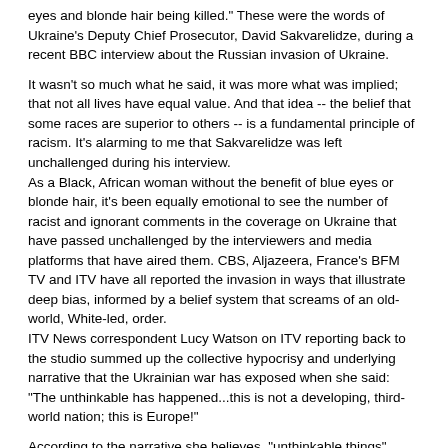eyes and blonde hair being killed." These were the words of Ukraine's Deputy Chief Prosecutor, David Sakvarelidze, during a recent BBC interview about the Russian invasion of Ukraine.
It wasn't so much what he said, it was more what was implied; that not all lives have equal value. And that idea -- the belief that some races are superior to others -- is a fundamental principle of racism. It's alarming to me that Sakvarelidze was left unchallenged during his interview. As a Black, African woman without the benefit of blue eyes or blonde hair, it's been equally emotional to see the number of racist and ignorant comments in the coverage on Ukraine that have passed unchallenged by the interviewers and media platforms that have aired them. CBS, Aljazeera, France's BFM TV and ITV have all reported the invasion in ways that illustrate deep bias, informed by a belief system that screams of an old-world, White-led, order. ITV News correspondent Lucy Watson on ITV reporting back to the studio summed up the collective hypocrisy and underlying narrative that the Ukrainian war has exposed when she said: "The unthinkable has happened...this is not a developing, third-world nation; this is Europe!"
According to the narrative she believes, "unthinkable things" happen only in "third world nations" (now an outdated and derogatory term, someone should tell her), and that narrative is perpetuated by the type of stories she and many like her, have heard about the continent. In Africa, it's the stories of conflict in Ethiopia, insurgency in Mozambique, election violence in Uganda, and the recent coups in Mali, Chad, Guinea, Sudan, Burkina Faso and Guinea Bissau. But it's also...